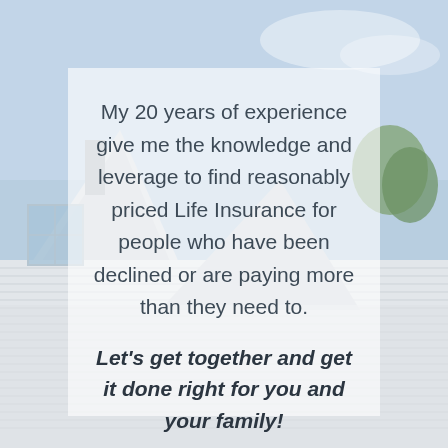[Figure (photo): Background photo of white residential house exterior with vinyl siding, rooflines, windows, and blue sky with trees visible]
My 20 years of experience give me the knowledge and leverage to find reasonably priced Life Insurance for people who have been declined or are paying more than they need to.
Let's get together and get it done right for you and your family!